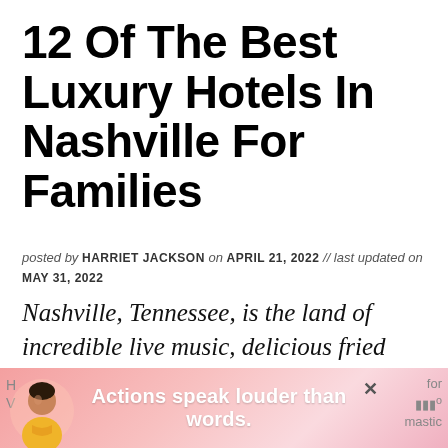12 Of The Best Luxury Hotels In Nashville For Families
posted by HARRIET JACKSON on APRIL 21, 2022 // last updated on MAY 31, 2022
Nashville, Tennessee, is the land of incredible live music, delicious fried chicken, and some of the best luxury hotels in America.
[Figure (other): Advertisement banner at bottom of page with pink/red gradient background, illustration of a person, and text 'Actions speak louder than words.' with a close button.]